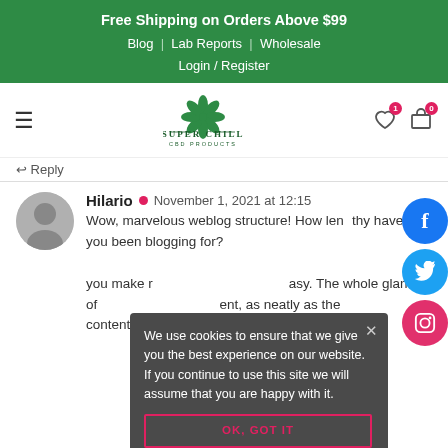Free Shipping on Orders Above $99
Blog | Lab Reports | Wholesale
Login / Register
[Figure (logo): Super Chill CBD Products logo with cannabis leaf icon, green color scheme]
↩ Reply
Hilario • November 1, 2021 at 12:15
Wow, marvelous weblog structure! How lengthy have you been blogging for?
you make running a blog glance easy. The whole glance of your site is magnificent, as neatly as the content material!
We use cookies to ensure that we give you the best experience on our website. If you continue to use this site we will assume that you are happy with it.
OK, GOT IT
↩ Reply